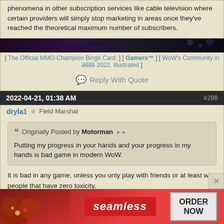phenomena in other subscription services like cable television where certain providers will simply stop marketing in areas once they've reached the theoretical maximum number of subscribers.
[Figure (photo): Dark purple/blue abstract banner image]
[ The Official MMO-Champion Bingo Card. ] [ Gamers™ ] [ WoW's Community in 2021 2022, illustrated ]
Reply With Quote
2022-04-21, 01:38 AM   #288
dryla1  Field Marshal
Originally Posted by Motorman — Putting my progress in your hands and your progress in my hands is bad game in modern WoW.
It is bad in any game, unless you only play with friends or at least with people that have zero toxicity.
I have found this even when playing games that have zero loot or progression to lose and still there are extremely toxic individuals.
This exact issue is making multiplayer games worse than ever, and making people run away from them.
[Figure (photo): Seamless food delivery advertisement banner with pizza image, Seamless logo, and ORDER NOW button]